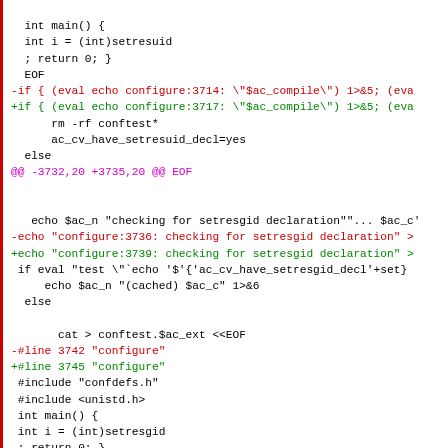[Figure (other): Source code diff showing changes to configure script, displaying lines related to setresuid and setresgid function declaration checks, with removed lines in red and added lines in green, hunk headers in magenta.]